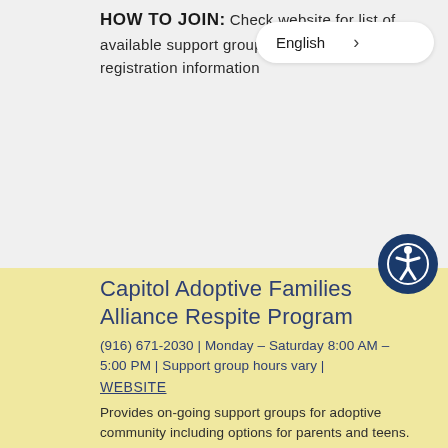HOW TO JOIN: Check website for list of available support groups, eligibility, and registration information
English
Capitol Adoptive Families Alliance Respite Program
(916) 671-2030 | Monday – Saturday 8:00 AM – 5:00 PM | Support group hours vary | WEBSITE
Provides on-going support groups for adoptive community including options for parents and teens.